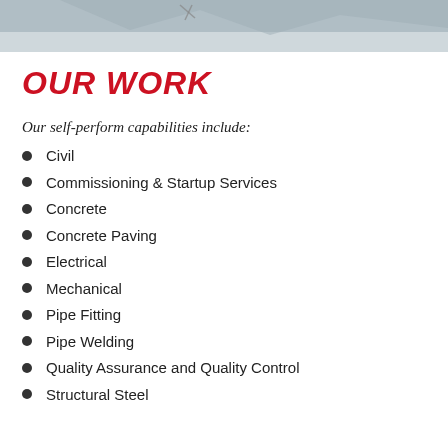[Figure (photo): Partial view of an aerial or construction scene, gray-blue sky tones, cropped at top of page.]
OUR WORK
Our self-perform capabilities include:
Civil
Commissioning & Startup Services
Concrete
Concrete Paving
Electrical
Mechanical
Pipe Fitting
Pipe Welding
Quality Assurance and Quality Control
Structural Steel